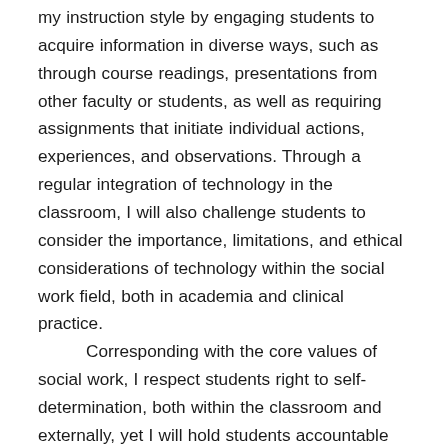my instruction style by engaging students to acquire information in diverse ways, such as through course readings, presentations from other faculty or students, as well as requiring assignments that initiate individual actions, experiences, and observations. Through a regular integration of technology in the classroom, I will also challenge students to consider the importance, limitations, and ethical considerations of technology within the social work field, both in academia and clinical practice.
Corresponding with the core values of social work, I respect students right to self-determination, both within the classroom and externally, yet I will hold students accountable for requirements of each course. Ultimately, my goal as a teacher is to inspire students to pursue knowledge and understanding by thinking critically in all aspects of their lives.